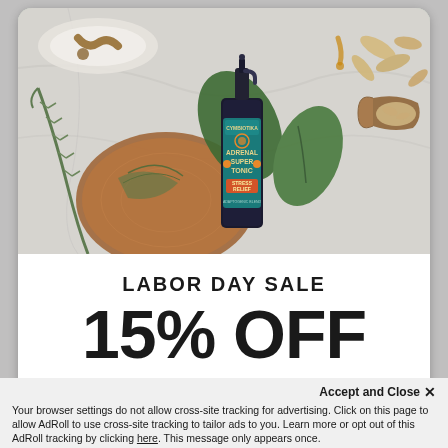[Figure (photo): Overhead flatlay photo of a dark glass bottle labeled 'Cymbiotika Adrenal Super Tonic Stress Relief' with a pump top, surrounded by fresh basil leaves, rosemary sprigs on a wooden board, oats in a wooden scoop, honey drizzle on a plate, all on a white marble surface.]
LABOR DAY SALE
15% OFF
Accept and Close ✕
Your browser settings do not allow cross-site tracking for advertising. Click on this page to allow AdRoll to use cross-site tracking to tailor ads to you. Learn more or opt out of this AdRoll tracking by clicking here. This message only appears once.